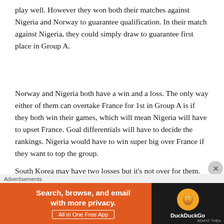play well. However they won both their matches against Nigeria and Norway to guarantee qualification. In their match against Nigeria, they could simply draw to guarantee first place in Group A.
Norway and Nigeria both have a win and a loss. The only way either of them can overtake France for 1st in Group A is if they both win their games, which will mean Nigeria will have to upset France. Goal differentials will have to decide the rankings. Nigeria would have to win super big over France if they want to top the group.
South Korea may have two losses but it's not over for them. They could still qualify if they beat Norway and their goal
Advertisements
[Figure (other): DuckDuckGo advertisement banner: orange background with text 'Search, browse, and email with more privacy. All in One Free App' and DuckDuckGo logo on dark background.]